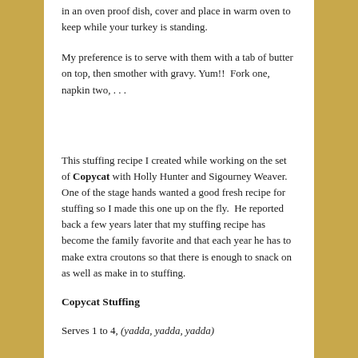in an oven proof dish, cover and place in warm oven to keep while your turkey is standing.
My preference is to serve with them with a tab of butter on top, then smother with gravy. Yum!!  Fork one, napkin two, . . .
This stuffing recipe I created while working on the set of Copycat with Holly Hunter and Sigourney Weaver.  One of the stage hands wanted a good fresh recipe for stuffing so I made this one up on the fly.  He reported back a few years later that my stuffing recipe has become the family favorite and that each year he has to make extra croutons so that there is enough to snack on as well as make in to stuffing.
Copycat Stuffing
Serves 1 to 4, (yadda, yadda, yadda)